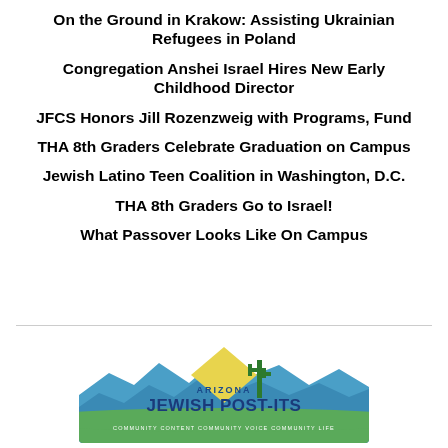On the Ground in Krakow: Assisting Ukrainian Refugees in Poland
Congregation Anshei Israel Hires New Early Childhood Director
JFCS Honors Jill Rozenzweig with Programs, Fund
THA 8th Graders Celebrate Graduation on Campus
Jewish Latino Teen Coalition in Washington, D.C.
THA 8th Graders Go to Israel!
What Passover Looks Like On Campus
[Figure (logo): Arizona Jewish Post-Its logo with mountain silhouette background, yellow diamond shape, cactus, and text: ARIZONA JEWISH POST-ITS COMMUNITY CONTENT COMMUNITY VOICE COMMUNITY LIFE]